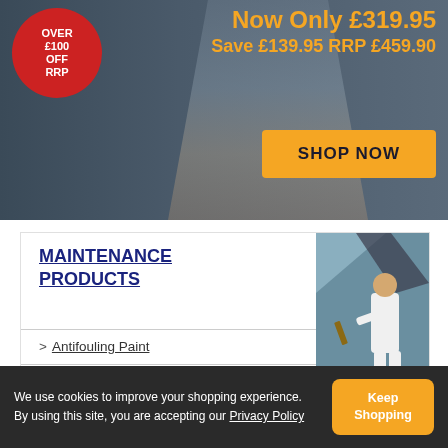[Figure (photo): Banner advertisement showing sailing/marine products with a red circular badge saying 'OVER £100 OFF RRP', price text in orange, and a SHOP NOW button]
MAINTENANCE PRODUCTS
> Antifouling Paint
> Cleaners & Polishes
> Paints & Varnishes
[Figure (photo): Person painting or varnishing a boat hull outdoors]
We use cookies to improve your shopping experience. By using this site, you are accepting our Privacy Policy
Keep Shopping